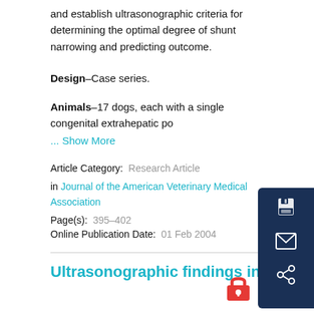and establish ultrasonographic criteria for determining the optimal degree of shunt narrowing and predicting outcome.
Design–Case series.
Animals–17 dogs, each with a single congenital extrahepatic po
... Show More
Article Category:  Research Article
in Journal of the American Veterinary Medical Association
Page(s):  395–402
Online Publication Date:  01 Feb 2004
Ultrasonographic findings in